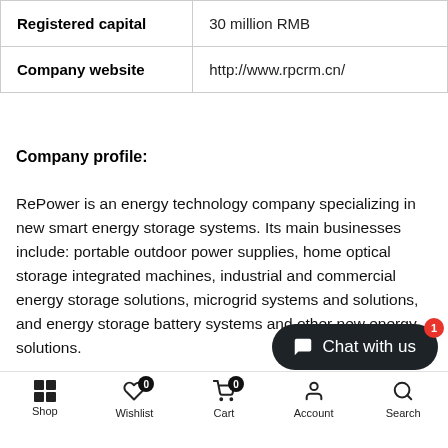|  |  |
| --- | --- |
| Registered capital | 30 million RMB |
| Company website | http://www.rpcrm.cn/ |
Company profile:
RePower is an energy technology company specializing in new smart energy storage systems. Its main businesses include: portable outdoor power supplies, home optical storage integrated machines, industrial and commercial energy storage solutions, microgrid systems and solutions, and energy storage battery systems and other new energy solutions.
Main products:
Shop  Wishlist  Cart  Account  Search